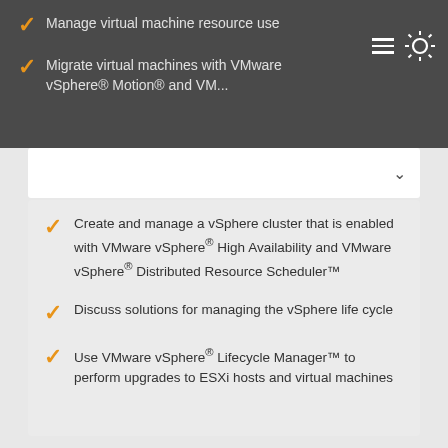Manage virtual machine resource use
Migrate virtual machines with VMware vSphere® Motion® and VMware...
Create and manage a vSphere cluster that is enabled with VMware vSphere® High Availability and VMware vSphere® Distributed Resource Scheduler™
Discuss solutions for managing the vSphere life cycle
Use VMware vSphere® Lifecycle Manager™ to perform upgrades to ESXi hosts and virtual machines